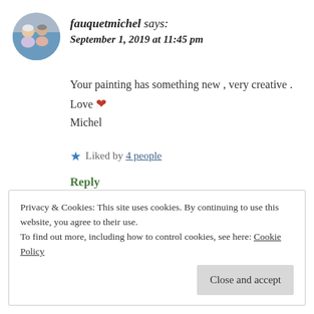[Figure (photo): Circular avatar photo of an older couple]
fauquetmichel says:
September 1, 2019 at 11:45 pm
Your painting has something new , very creative . Love ❤ Michel
★ Liked by 4 people
Reply
Privacy & Cookies: This site uses cookies. By continuing to use this website, you agree to their use.
To find out more, including how to control cookies, see here: Cookie Policy
Close and accept